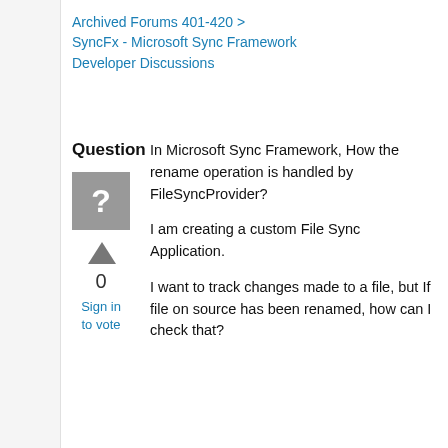Archived Forums 401-420 > SyncFx - Microsoft Sync Framework Developer Discussions
Question
[Figure (illustration): Grey square avatar with white question mark icon]
0
Sign in to vote
In Microsoft Sync Framework, How the rename operation is handled by FileSyncProvider?
I am creating a custom File Sync Application.
I want to track changes made to a file, but If file on source has been renamed, how can I check that?